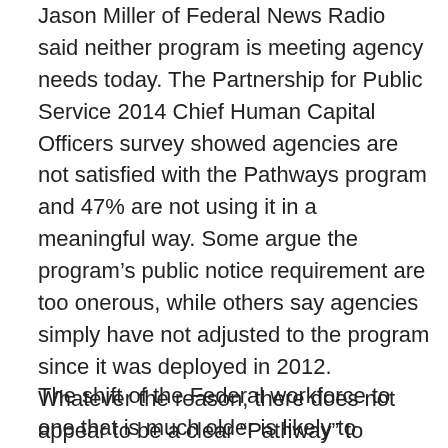Jason Miller of Federal News Radio said neither program is meeting agency needs today. The Partnership for Public Service 2014 Chief Human Capital Officers survey showed agencies are not satisfied with the Pathways program and 47% are not using it in a meaningful way. Some argue the program's public notice requirement are too onerous, while others say agencies simply have not adjusted to the program since it was deployed in 2012. Whatever the reason, there does not appear to be a clear “Pathway” to Federal service for recent graduates. That says nothing about the continuing challenges applicants of all ages face in navigating the overly complex and slow Federal hiring process.
The shift of the Federal workforce to one that is much older is likely to reignite talk of a pending retirement wave.